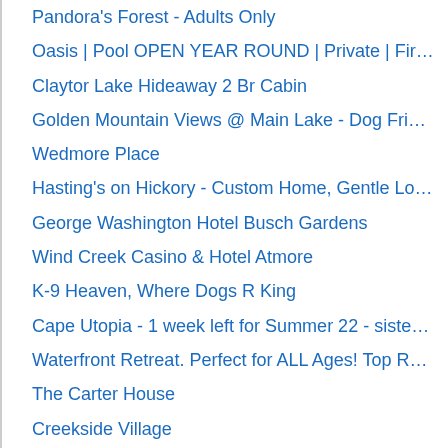Pandora's Forest - Adults Only
Oasis | Pool OPEN YEAR ROUND | Private | Fir…
Claytor Lake Hideaway 2 Br Cabin
Golden Mountain Views @ Main Lake - Dog Fri…
Wedmore Place
Hasting's on Hickory - Custom Home, Gentle Lo…
George Washington Hotel Busch Gardens
Wind Creek Casino & Hotel Atmore
K-9 Heaven, Where Dogs R King
Cape Utopia - 1 week left for Summer 22 - siste…
Waterfront Retreat. Perfect for ALL Ages! Top R…
The Carter House
Creekside Village
Club Wyndham Kingsgate
Great Wolf Lodge Williamsburg
Always Sunny - One Block To The Beach, Sleep…
Alfords Getaway 2 Master Suites, WIFI, 2 Kaya…
The Manor at Airmont
Lake Point Manor on Smith Mountain Lake, wifi,…